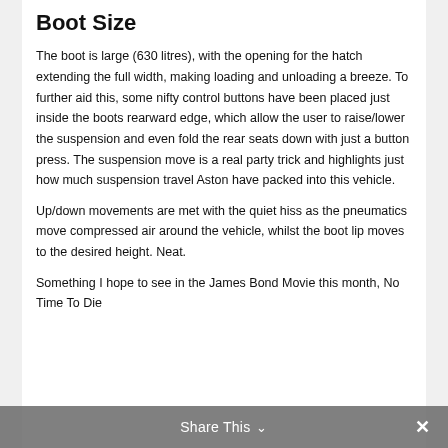Boot Size
The boot is large (630 litres), with the opening for the hatch extending the full width, making loading and unloading a breeze. To further aid this, some nifty control buttons have been placed just inside the boots rearward edge, which allow the user to raise/lower the suspension and even fold the rear seats down with just a button press. The suspension move is a real party trick and highlights just how much suspension travel Aston have packed into this vehicle.
Up/down movements are met with the quiet hiss as the pneumatics move compressed air around the vehicle, whilst the boot lip moves to the desired height. Neat.
Something I hope to see in the James Bond Movie this month, No Time To Die
Share This ∨  ✕